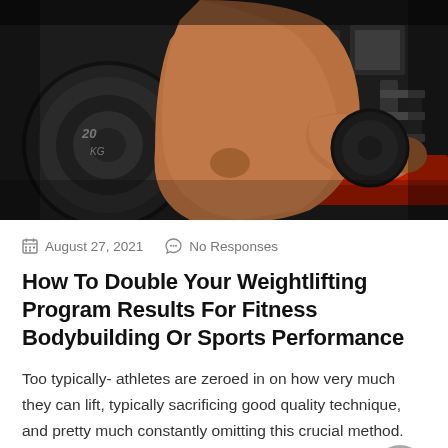[Figure (photo): A muscular shirtless athlete lifting a heavy barbell in a dark gym, performing a curl or row exercise with large weight plates visible in the foreground and gym equipment in the background.]
August 27, 2021   No Responses
How To Double Your Weightlifting Program Results For Fitness Bodybuilding Or Sports Performance
Too typically- athletes are zeroed in on how very much they can lift, typically sacrificing good quality technique, and pretty much constantly omitting this crucial method.